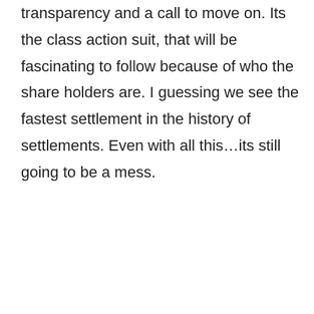transparency and a call to move on. Its the class action suit, that will be fascinating to follow because of who the share holders are. I guessing we see the fastest settlement in the history of settlements. Even with all this…its still going to be a mess.
★ Like
Advertisements
[Figure (other): Advertisement banner with beige background. Headline: 'Need a website quickly – and on a budget?' Subtext: 'Let us build it for you'. Button: 'Let's get started'. Photo of a person on the right side.]